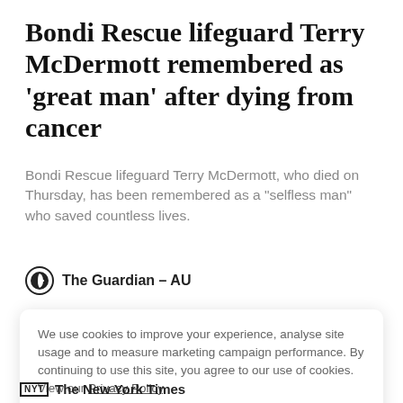Bondi Rescue lifeguard Terry McDermott remembered as 'great man' after dying from cancer
Bondi Rescue lifeguard Terry McDermott, who died on Thursday, has been remembered as a "selfless man" who saved countless lives.
The Guardian – AU
We use cookies to improve your experience, analyse site usage and to measure marketing campaign performance. By continuing to use this site, you agree to our use of cookies. View our Privacy Policy.
ACCEPT
NYT The New York Times